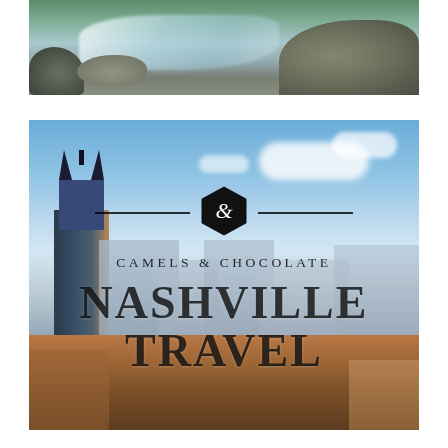[Figure (photo): Aerial/close-up photo of a rocky stream with rushing white water and mossy rocks]
[Figure (photo): Nashville city skyline photo with the AT&T Batman Building prominent on the left, blue sky with clouds, overlaid with the Camels & Chocolate brand logo and text reading NASHVILLE TRAVEL]